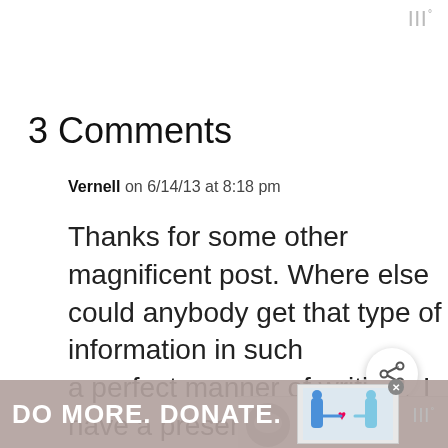|||°
3 Comments
Vernell on 6/14/13 at 8:18 pm
Thanks for some other magnificent post. Where else could anybody get that type of information in such a perfect manner of writing? I have a presentation next week, and I am on the look for
[Figure (other): Share button (circular icon with share/network symbol)]
[Figure (other): What's Next panel with thumbnail of rice dish and text 'How to cook rice in the...']
[Figure (other): Advertisement banner reading 'DO MORE. DONATE.' with illustration of two figures]
|||°